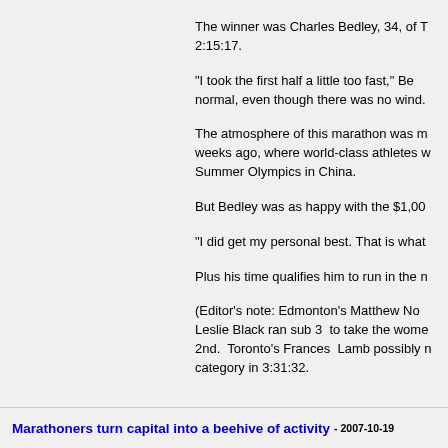The winner was Charles Bedley, 34, of T... 2:15:17.
"I took the first half a little too fast," Be... normal, even though there was no wind.
The atmosphere of this marathon was m... weeks ago, where world-class athletes w... Summer Olympics in China.
But Bedley was as happy with the $1,00...
"I did get my personal best. That is what...
Plus his time qualifies him to run in the n...
(Editor's note: Edmonton's Matthew No... Leslie Black ran sub 3  to take the wome... 2nd.  Toronto's Frances  Lamb possibly n... category in 3:31:32.
Marathoners turn capital into a beehive of activity - 2007-10-19...